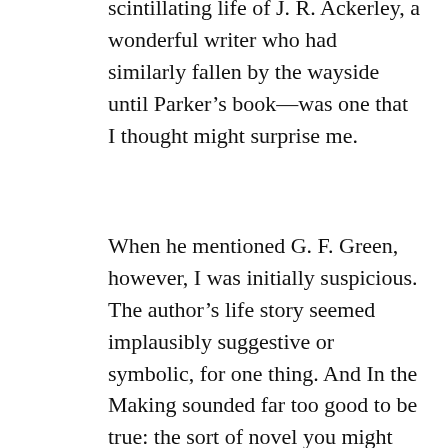scintillating life of J. R. Ackerley, a wonderful writer who had similarly fallen by the wayside until Parker's book—was one that I thought might surprise me.
When he mentioned G. F. Green, however, I was initially suspicious. The author's life story seemed implausibly suggestive or symbolic, for one thing. And In the Making sounded far too good to be true: the sort of novel you might invent, wanting so much for such a book to have existed. As an unapologetic account of a solitary English boy's adolescent (and pre-adolescent) passions in the 1920's, the book was, oddly enough, dedicated to Green's own parents. I state “oddly” because—at a time when homosexual acts were proscribed by British law and the articulation of same-sex